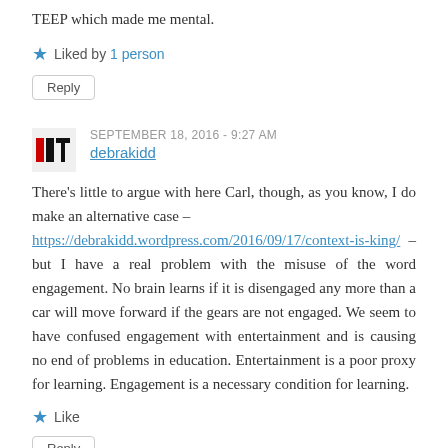TEEP which made me mental.
Liked by 1 person
Reply
SEPTEMBER 18, 2016 - 9:27 AM
debrakidd
There's little to argue with here Carl, though, as you know, I do make an alternative case – https://debrakidd.wordpress.com/2016/09/17/context-is-king/ – but I have a real problem with the misuse of the word engagement. No brain learns if it is disengaged any more than a car will move forward if the gears are not engaged. We seem to have confused engagement with entertainment and is causing no end of problems in education. Entertainment is a poor proxy for learning. Engagement is a necessary condition for learning.
Like
Reply